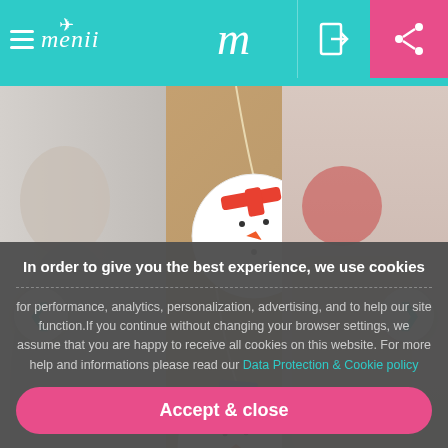menii - m
[Figure (photo): Mobile app screenshot showing a carousel of craft ideas. Center image shows felt snowman Christmas tree ornaments made from paper plates with colorful scarves and carrot noses on a cardboard background. Left panel partially shows a person. Right panel partially shows a Christmas figure.]
Felt snowman Christmas tree ornaments - craft idea for kids
Adorabl
me
In order to give you the best experience, we use cookies
for performance, analytics, personalization, advertising, and to help our site function.If you continue without changing your browser settings, we assume that you are happy to receive all cookies on this website. For more help and informations please read our Data Protection & Cookie policy
Accept & close